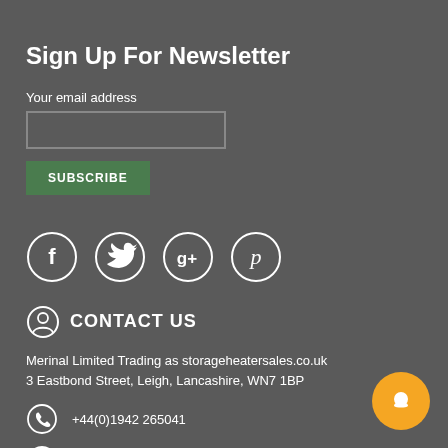Sign Up For Newsletter
Your email address
SUBSCRIBE
[Figure (illustration): Four social media icons in circles: Facebook (f), Twitter (bird), Google+ (g+), Pinterest (p)]
CONTACT US
Merinal Limited Trading as storageheatersales.co.uk
3 Eastbond Street, Leigh, Lancashire, WN7 1BP
+44(0)1942 265041
Email Our Team
[Figure (illustration): Orange chat bubble button in bottom right corner]